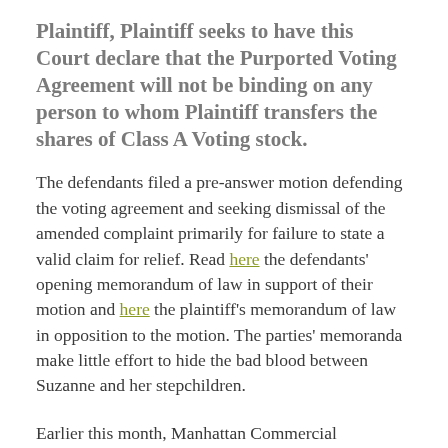Plaintiff, Plaintiff seeks to have this Court declare that the Purported Voting Agreement will not be binding on any person to whom Plaintiff transfers the shares of Class A Voting stock.
The defendants filed a pre-answer motion defending the voting agreement and seeking dismissal of the amended complaint primarily for failure to state a valid claim for relief. Read here the defendants' opening memorandum of law in support of their motion and here the plaintiff's memorandum of law in opposition to the motion. The parties' memoranda make little effort to hide the bad blood between Suzanne and her stepchildren.
Earlier this month, Manhattan Commercial